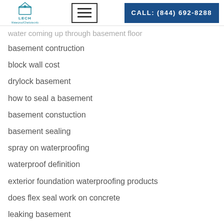LECH | CALL: (844) 692-8288
water coming up through basement floor
basement contruction
block wall cost
drylock basement
how to seal a basement
basement constuction
basement sealing
spray on waterproofing
waterproof definition
exterior foundation waterproofing products
does flex seal work on concrete
leaking basement
waterproofing sealers
waterproof coverings
basement concrete sealer